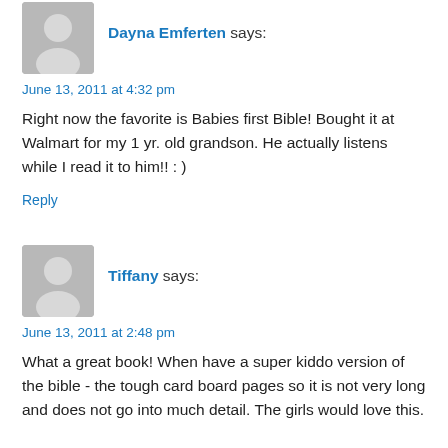[Figure (illustration): Gray avatar placeholder icon showing silhouette of a person, for first commenter (Dayna Emferten)]
Dayna Emferten says:
June 13, 2011 at 4:32 pm
Right now the favorite is Babies first Bible! Bought it at Walmart for my 1 yr. old grandson. He actually listens while I read it to him!! : )
Reply
[Figure (illustration): Gray avatar placeholder icon showing silhouette of a person, for second commenter (Tiffany)]
Tiffany says:
June 13, 2011 at 2:48 pm
What a great book! When have a super kiddo version of the bible - the tough card board pages so it is not very long and does not go into much detail. The girls would love this.